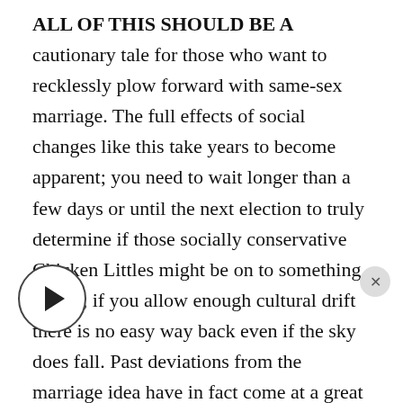ALL OF THIS SHOULD BE A cautionary tale for those who want to recklessly plow forward with same-sex marriage. The full effects of social changes like this take years to become apparent; you need to wait longer than a few days or until the next election to truly determine if those socially conservative Chicken Littles might be on to something. Worse, if you allow enough cultural drift there is no easy way back even if the sky does fall. Past deviations from the marriage idea have in fact come at a great price. And the problems associated with fatherless families and illegitimacy [play button overlaid] ed even though there are many loving single parents who do an excellent job.